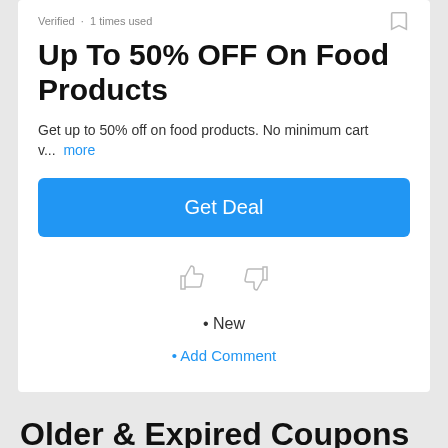Verified · 1 times used
Up To 50% OFF On Food Products
Get up to 50% off on food products. No minimum cart v… more
Get Deal
• New
• Add Comment
Older & Expired Coupons
These coupons might work sometimes - Just give them a try.